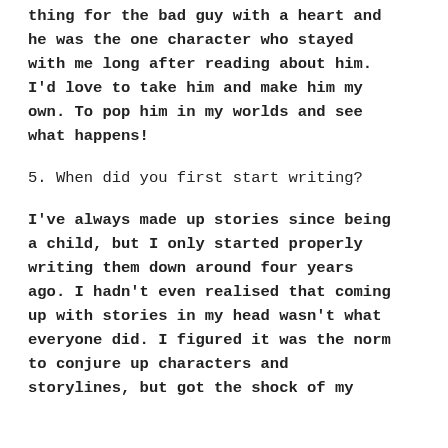thing for the bad guy with a heart and he was the one character who stayed with me long after reading about him. I'd love to take him and make him my own. To pop him in my worlds and see what happens!
5. When did you first start writing?
I've always made up stories since being a child, but I only started properly writing them down around four years ago. I hadn't even realised that coming up with stories in my head wasn't what everyone did. I figured it was the norm to conjure up characters and storylines, but got the shock of my